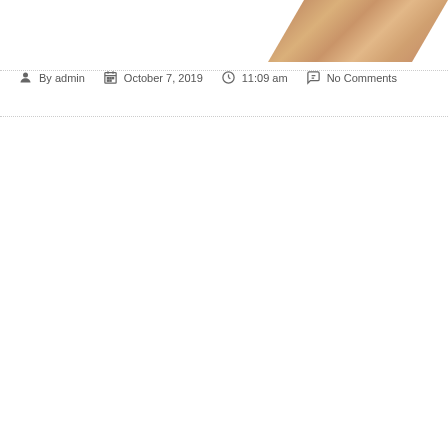[Figure (photo): Partial view of wood flooring or wooden material in the top-right corner, with a parallelogram/diagonal crop shape showing warm beige-brown wood grain texture.]
By admin   October 7, 2019   11:09 am   No Comments